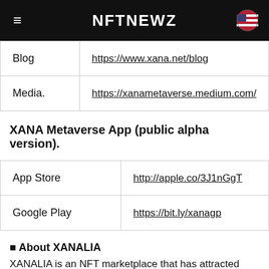NFTNEWZ
| Blog | https://www.xana.net/blog |
| Media. | https://xanametaverse.medium.com/ |
XANA Metaverse App (public alpha version).
| App Store | http://apple.co/3J1nGgT |
| Google Play | https://bit.ly/xanagp |
■ About XANALIA
XANALIA is an NFT marketplace that has attracted global attention, ranking 8th in global trading volume in